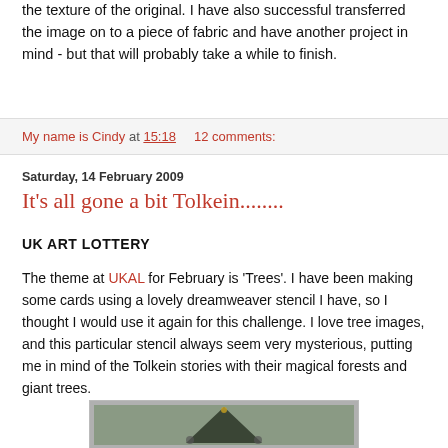the texture of the original. I have also successful transferred the image on to a piece of fabric and have another project in mind - but that will probably take a while to finish.
My name is Cindy at 15:18    12 comments:
Saturday, 14 February 2009
It's all gone a bit Tolkein........
UK ART LOTTERY
The theme at UKAL for February is 'Trees'. I have been making some cards using a lovely dreamweaver stencil I have, so I thought I would use it again for this challenge. I love tree images, and this particular stencil always seem very mysterious, putting me in mind of the Tolkein stories with their magical forests and giant trees.
[Figure (photo): Photo of a dark green decorative item, possibly a brooch or ornament, against a gray background. The item has a triangular/arch shape with metal details.]